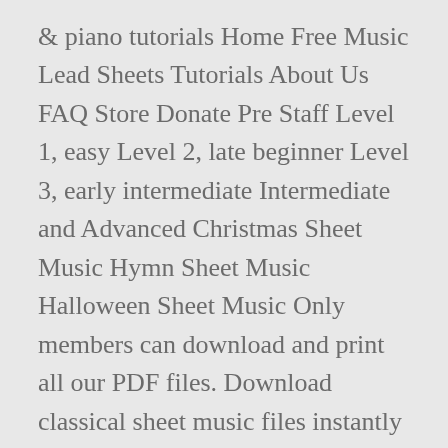& piano tutorials Home Free Music Lead Sheets Tutorials About Us FAQ Store Donate Pre Staff Level 1, easy Level 2, late beginner Level 3, early intermediate Intermediate and Advanced Christmas Sheet Music Hymn Sheet Music Halloween Sheet Music Only members can download and print all our PDF files. Download classical sheet music files instantly from our large selection of online music scores. piano sheet music book by Emily Tufenkjian: Lillenas Publishing Company at Sheet Music Plus. Download PDF files for free or favorite them to save to your Musopen profile for later. Start dreaming fantastic colors and emotions with the beautiful classical work by Ludwig van